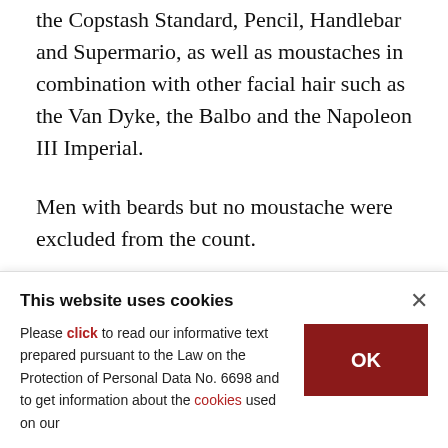the Copstash Standard, Pencil, Handlebar and Supermario, as well as moustaches in combination with other facial hair such as the Van Dyke, the Balbo and the Napoleon III Imperial.
Men with beards but no moustache were excluded from the count.
The thickest moustache density was found in departments of psychiatry, pathology and
This website uses cookies

Please click to read our informative text prepared pursuant to the Law on the Protection of Personal Data No. 6698 and to get information about the cookies used on our